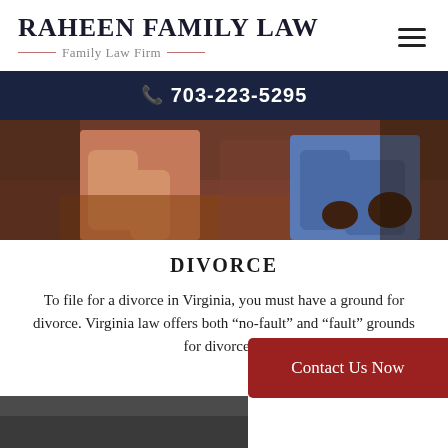RAHEEN FAMILY LAW — Family Law Firm
703-223-5295
[Figure (photo): Two people sitting apart on a brown leather couch, suggesting marital separation or divorce consultation context.]
DIVORCE
To file for a divorce in Virginia, you must have a ground for divorce. Virginia law offers both “no-fault” and “fault” grounds for divorce…
Contact Us Now
[Figure (photo): Partial bottom image, appears to be a grey/dark scene, partially visible at bottom of page.]